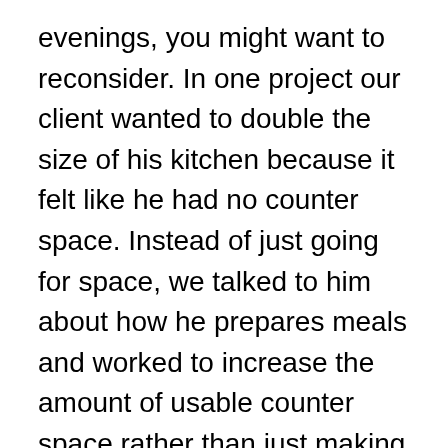evenings, you might want to reconsider. In one project our client wanted to double the size of his kitchen because it felt like he had no counter space. Instead of just going for space, we talked to him about how he prepares meals and worked to increase the amount of usable counter space rather than just making the kitchen bigger.
Set a budget, then subtract 20 to 30 percent for contingencies. Create a budget you're comfortable with, then